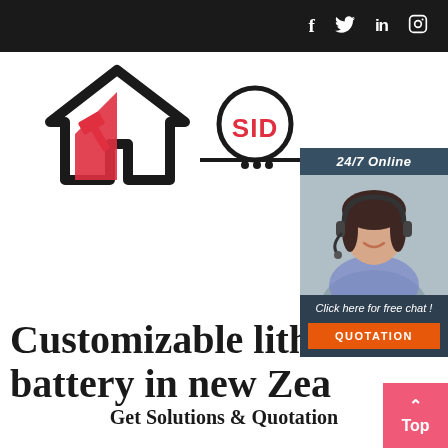f  Twitter  in  Instagram (social media icons)
[Figure (logo): House/hammer logo with red and black house silhouette and a red hammer, alongside a circular SID logo with dots]
[Figure (infographic): 24/7 Online chat widget with a customer service woman wearing a headset, dark blue/slate background with 'Click here for free chat!' text and an orange QUOTATION button]
Customizable lithium battery in new Zea
Get Solutions & Quotation
[Figure (other): Pink 'Top' back-to-top button with an up arrow in the bottom right corner]